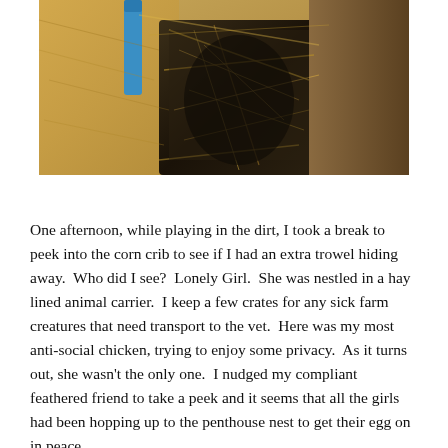[Figure (photo): A close-up photograph of a hay-lined animal carrier/crate with straw and dried grass visible inside. A blue handle or strap is visible at the top left. The interior is dark with golden straw/hay filling the space, suggesting an animal nest inside a pet carrier or corn crib.]
One afternoon, while playing in the dirt, I took a break to peek into the corn crib to see if I had an extra trowel hiding away.  Who did I see?  Lonely Girl.  She was nestled in a hay lined animal carrier.  I keep a few crates for any sick farm creatures that need transport to the vet.  Here was my most anti-social chicken, trying to enjoy some privacy.  As it turns out, she wasn't the only one.  I nudged my compliant feathered friend to take a peek and it seems that all the girls had been hopping up to the penthouse nest to get their egg on in peace...